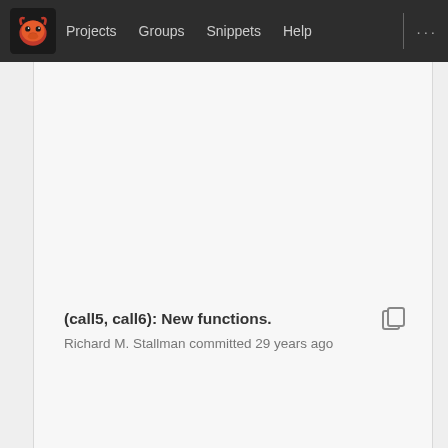Projects  Groups  Snippets  Help  ...
(call5, call6): New functions.
Richard M. Stallman committed 29 years ago